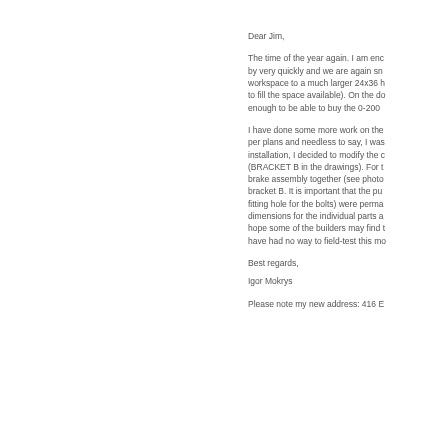Dear Jim,
The time of the year again. I am enc by very quickly and we are again sn workspace to a much larger 24x36 h to fill the space available). On the do enough to be able to buy the 0-200
I have done some more work on the per plans and needless to say, I was installation, I decided to modify the c (BRACKET B in the drawings). For t brake assembly together (see photo bracket B. It is important that the pu fitting hole for the bolts) were perma dimensions for the individual parts a hope some of the builders may find t have had no way to field-test this mo
Best regards,
Igor Mokrys
Please note my new address: 416 E